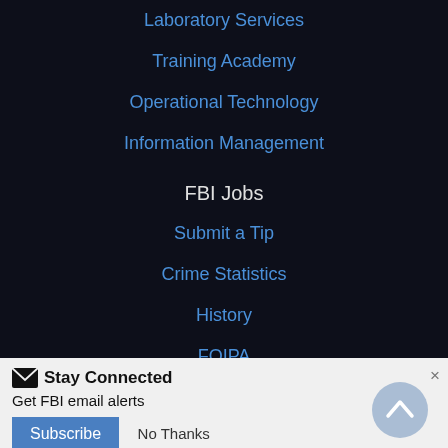Laboratory Services
Training Academy
Operational Technology
Information Management
FBI Jobs
Submit a Tip
Crime Statistics
History
FOIPA
Scams & Safety
FBI Kids
Stay Connected
Get FBI email alerts
Subscribe   No Thanks